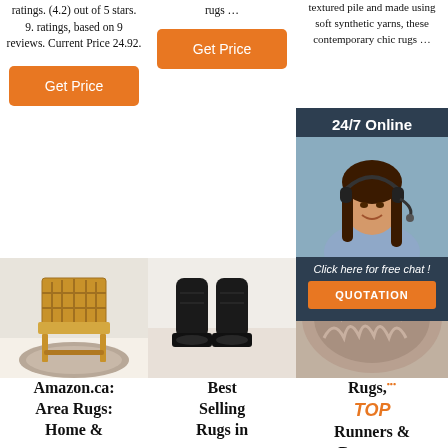ratings. (4.2) out of 5 stars. 9. ratings, based on 9 reviews. Current Price 24.92.
Get Price
Get Price
rugs …
textured pile and made using soft synthetic yarns, these contemporary chic rugs
Get Price
[Figure (photo): 24/7 online chat widget with woman wearing headset, with Quotation button]
[Figure (photo): Chair on round rug product image]
[Figure (photo): Black boots product image]
[Figure (photo): Sheepskin/fur rug photo]
Amazon.ca: Area Rugs: Home &
Best Selling Rugs in
Rugs, Runners & Doormats